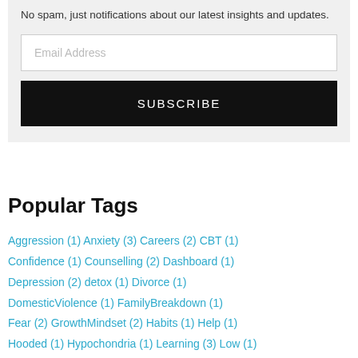No spam, just notifications about our latest insights and updates.
Email Address
SUBSCRIBE
Popular Tags
Aggression (1) Anxiety (3) Careers (2) CBT (1) Confidence (1) Counselling (2) Dashboard (1) Depression (2) detox (1) Divorce (1) DomesticViolence (1) FamilyBreakdown (1) Fear (2) GrowthMindset (2) Habits (1) Help (1) Hooded (1) Hypochondria (1) Learning (3) Low (1)